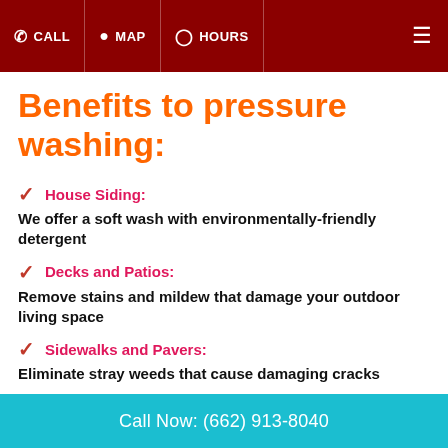CALL MAP HOURS
Benefits to pressure washing:
House Siding: We offer a soft wash with environmentally-friendly detergent
Decks and Patios: Remove stains and mildew that damage your outdoor living space
Sidewalks and Pavers: Eliminate stray weeds that cause damaging cracks
Call Now: (662) 913-8040